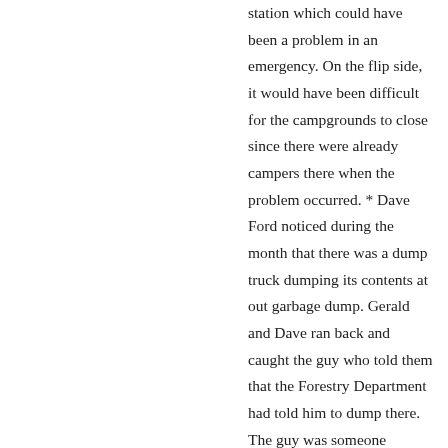station which could have been a problem in an emergency. On the flip side, it would have been difficult for the campgrounds to close since there were already campers there when the problem occurred. * Dave Ford noticed during the month that there was a dump truck dumping its contents at out garbage dump. Gerald and Dave ran back and caught the guy who told them that the Forestry Department had told him to dump there. The guy was someone working up at the summer homes. He wasn't using the dumpsters, but was instead